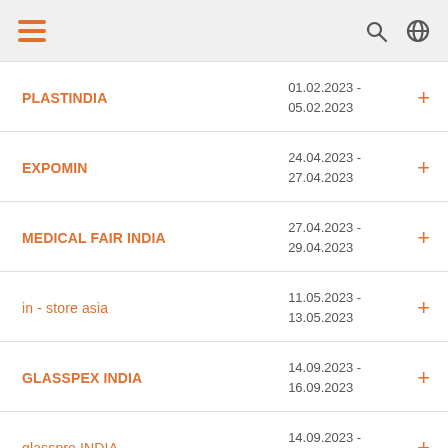Navigation header with hamburger menu, search and globe icons
PLASTINDIA | 01.02.2023 - 05.02.2023
EXPOMIN | 24.04.2023 - 27.04.2023
MEDICAL FAIR INDIA | 27.04.2023 - 29.04.2023
in - store asia | 11.05.2023 - 13.05.2023
GLASSPEX INDIA | 14.09.2023 - 16.09.2023
glasspro INDIA | 14.09.2023 - 16.09.2023